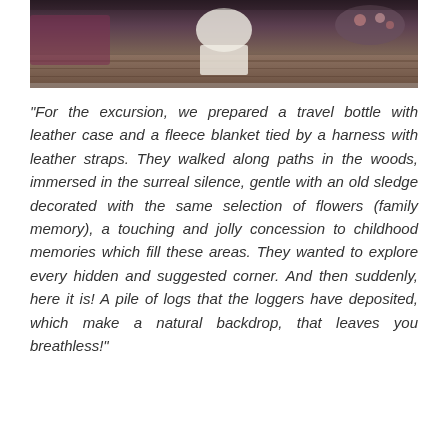[Figure (photo): A photograph showing a bride in a white dress seated on a wooden floor in a rustic indoor setting with warm tones, flowers visible in the background.]
"For the excursion, we prepared a travel bottle with leather case and a fleece blanket tied by a harness with leather straps. They walked along paths in the woods, immersed in the surreal silence, gentle with an old sledge decorated with the same selection of flowers (family memory), a touching and jolly concession to childhood memories which fill these areas. They wanted to explore every hidden and suggested corner. And then suddenly, here it is! A pile of logs that the loggers have deposited, which make a natural backdrop, that leaves you breathless!"